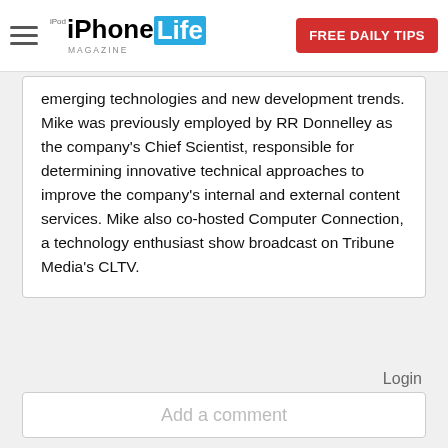iPhone Life Magazine — FREE DAILY TIPS
emerging technologies and new development trends. Mike was previously employed by RR Donnelley as the company's Chief Scientist, responsible for determining innovative technical approaches to improve the company's internal and external content services. Mike also co-hosted Computer Connection, a technology enthusiast show broadcast on Tribune Media's CLTV.
Login
Add a comment